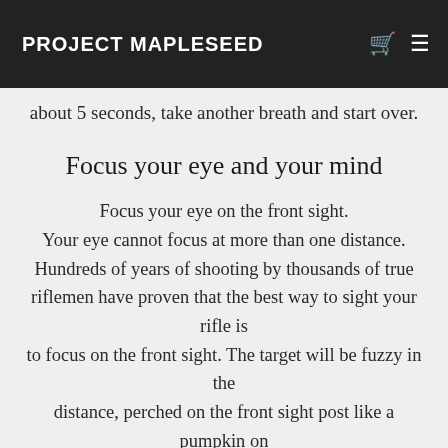PROJECT MAPLESEED
should be at the 6 o'clock hold position. You are now in the ideal respiratory pause for accurate and consistent shot placement. Don't rush the shot. If you've been holding more than about 5 seconds, take another breath and start over.
Focus your eye and your mind
Focus your eye on the front sight. Your eye cannot focus at more than one distance. Hundreds of years of shooting by thousands of true riflemen have proven that the best way to sight your rifle is to focus on the front sight. The target will be fuzzy in the distance, perched on the front sight post like a pumpkin on a fencepost. The rear sight will be fuzzy in your periphery. Focus your MIND on keeping that front sight PRECISELY where it belongs on the fuzzy target.